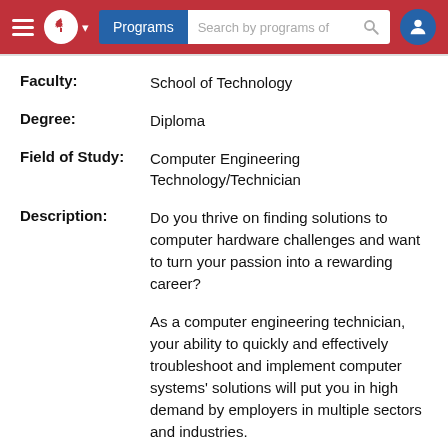Programs  Search by programs of  [user icon]
Faculty:  School of Technology
Degree:  Diploma
Field of Study:  Computer Engineering Technology/Technician
Description:  Do you thrive on finding solutions to computer hardware challenges and want to turn your passion into a rewarding career?

As a computer engineering technician, your ability to quickly and effectively troubleshoot and implement computer systems' solutions will put you in high demand by employers in multiple sectors and industries.
URL:  Computer Engineering Technician at